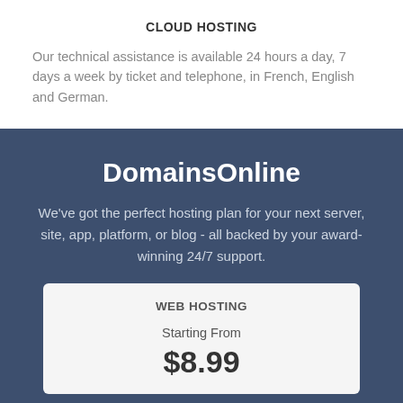CLOUD HOSTING
Our technical assistance is available 24 hours a day, 7 days a week by ticket and telephone, in French, English and German.
DomainsOnline
We've got the perfect hosting plan for your next server, site, app, platform, or blog - all backed by your award-winning 24/7 support.
WEB HOSTING
Starting From
$8.99